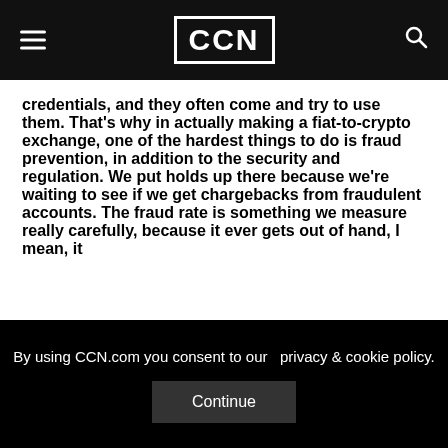CCN
credentials, and they often come and try to use them. That's why in actually making a fiat-to-crypto exchange, one of the hardest things to do is fraud prevention, in addition to the security and regulation. We put holds up there because we're waiting to see if we get chargebacks from fraudulent accounts. The fraud rate is something we measure really carefully, because it ever gets out of hand, I mean, it
By using CCN.com you consent to our privacy & cookie policy.
Continue